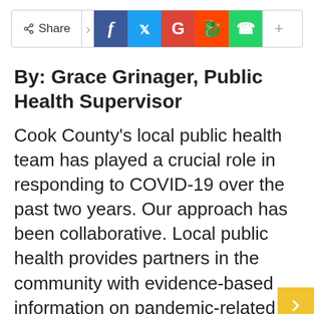[Figure (other): Social sharing bar with Share label, Facebook (blue), Twitter (light blue), Google (red), Reddit (orange-red), WhatsApp (green) buttons, and a plus/more button]
By: Grace Grinager, Public Health Supervisor
Cook County’s local public health team has played a crucial role in responding to COVID-19 over the past two years. Our approach has been collaborative. Local public health provides partners in the community with evidence-based information on pandemic-related topics such as infection control and recommendations for what to do if